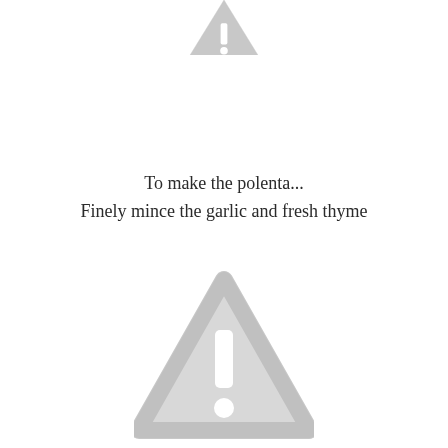[Figure (illustration): A grey warning triangle with exclamation mark icon, partially cropped at the top of the page]
To make the polenta...
Finely mince the garlic and fresh thyme
[Figure (illustration): A grey warning triangle with exclamation mark icon, fully visible at the bottom of the page]